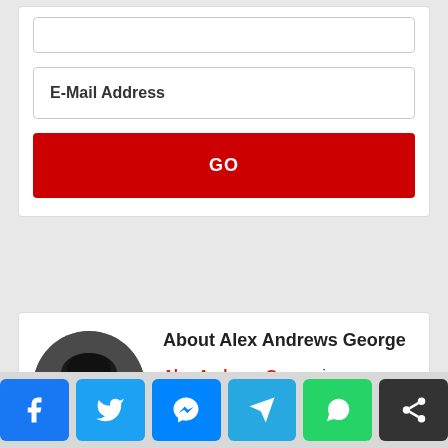E-Mail Address
GO
[Figure (photo): Circular avatar photo of Alex Andrews George, a man with dark hair, smiling, against a dark background]
About Alex Andrews George
Alex Andrews George is
[Figure (infographic): Social share bar with Facebook, Twitter, Messenger, Telegram, WhatsApp, and Share buttons]